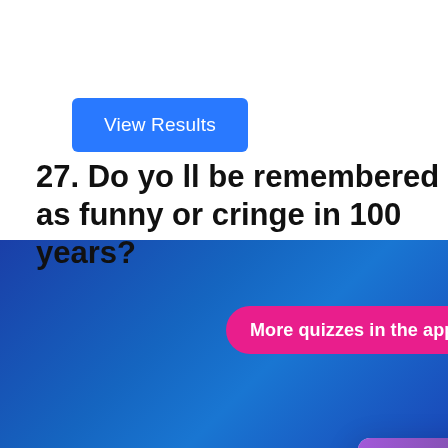[Figure (screenshot): Blue 'View Results' button on white background]
27. Do you think memes will be remembered as funny or cringe in 100 years?
[Figure (screenshot): Pink pill-shaped banner reading 'More quizzes in the app!' with X close button]
[Figure (screenshot): Modal popup with purple gradient title bar (three circle dots and X), light pink body. Content: 'Is sending memes your love language? Then You're Probably Chronically Online Join Us 👇' with email address input field, 'Sign Me Up!' dark button, and 'No Thanks' underlined link.]